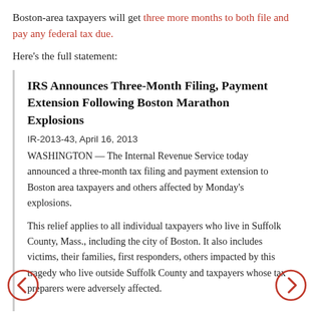Boston-area taxpayers will get three more months to both file and pay any federal tax due.
Here's the full statement:
IRS Announces Three-Month Filing, Payment Extension Following Boston Marathon Explosions
IR-2013-43, April 16, 2013
WASHINGTON — The Internal Revenue Service today announced a three-month tax filing and payment extension to Boston area taxpayers and others affected by Monday's explosions.
This relief applies to all individual taxpayers who live in Suffolk County, Mass., including the city of Boston. It also includes victims, their families, first responders, others impacted by this tragedy who live outside Suffolk County and taxpayers whose tax preparers were adversely affected.